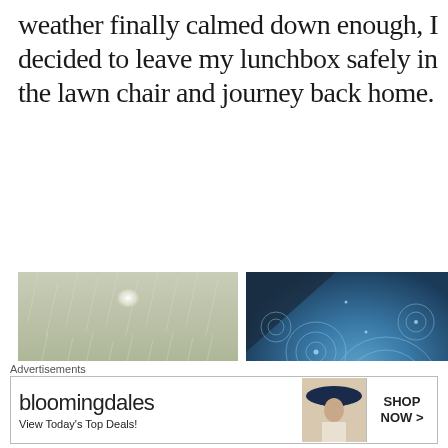weather finally calmed down enough, I decided to leave my lunchbox safely in the lawn chair and journey back home.
[Figure (photo): Grayscale photo of heavy rain falling on grass, with a bright light source visible in the upper background]
[Figure (photo): Close-up blue-tinted photo of rain droplets hitting a water surface, creating ripple circles]
Advertisements
[Figure (screenshot): Bloomingdale's advertisement banner: 'bloomingdales - View Today's Top Deals!' with a woman in a wide-brim hat and 'SHOP NOW >' button]